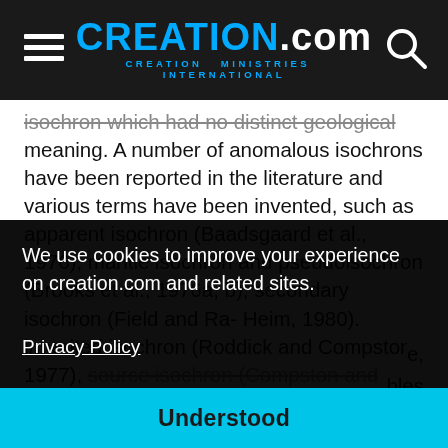CREATION.com — CREATION MINISTRIES INTERNATIONAL
isochron which had no distinct geological meaning. A number of anomalous isochrons have been reported in the literature and various terms have been invented, such as apparent isochron (Baadsgaard et al., 1976), mantle isochron and pseudoisochron (Brooks et al., 1976a, b), secondary isochron (Field and Ra- Heim, 1980). inherited isochron (Roddick and Compston, 1977), source isochron (Compston and Chappell, 1979),
We use cookies to improve your experience on creation.com and related sites.
Privacy Policy
aerial isochrons (Kohler and Muller-Sohnius, 1980;